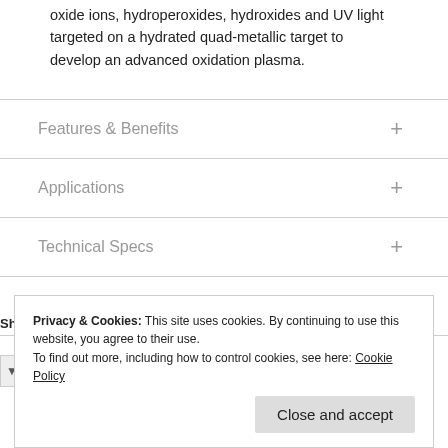oxide ions, hydroperoxides, hydroxides and UV light targeted on a hydrated quad-metallic target to develop an advanced oxidation plasma.
Features & Benefits
Applications
Technical Specs
PDF
Privacy & Cookies: This site uses cookies. By continuing to use this website, you agree to their use.
To find out more, including how to control cookies, see here: Cookie Policy
Close and accept